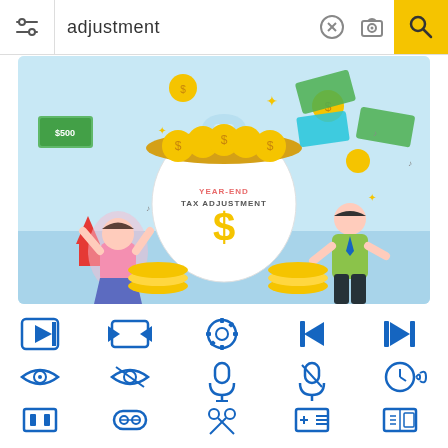[Figure (screenshot): Mobile image search interface with search bar showing 'adjustment' query, two illustration results (Year-End Tax Adjustment and Kitchen Installation Service), and a bottom icon grid with blue media/UI icons]
adjustment
[Figure (illustration): Year-end tax adjustment illustration with money bag, coins, dollar bills, and two characters celebrating]
[Figure (illustration): Kitchen installation service isometric illustration showing a worker installing kitchen cabinets]
[Figure (infographic): Grid of blue UI/media icons including play, record, camera, eye, microphone, crop, scissors, and other interface icons]